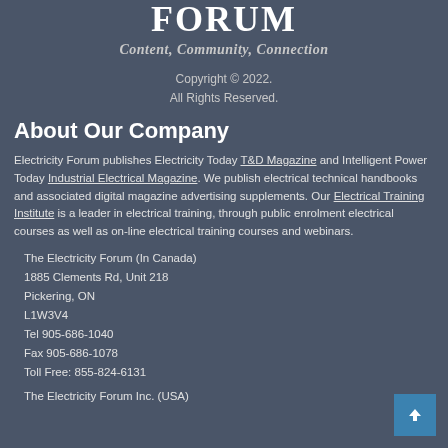[Figure (logo): Electricity Forum logo with text FORUM and tagline Content, Community, Connection]
Copyright © 2022.
All Rights Reserved.
About Our Company
Electricity Forum publishes Electricity Today T&D Magazine and Intelligent Power Today Industrial Electrical Magazine. We publish electrical technical handbooks and associated digital magazine advertising supplements. Our Electrical Training Institute is a leader in electrical training, through public enrolment electrical courses as well as on-line electrical training courses and webinars.
The Electricity Forum (In Canada)
1885 Clements Rd, Unit 218
Pickering, ON
L1W3V4
Tel 905-686-1040
Fax 905-686-1078
Toll Free: 855-824-6131
The Electricity Forum Inc. (USA)